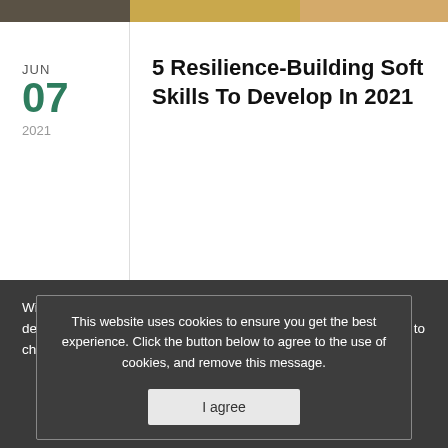5 Resilience-Building Soft Skills To Develop In 2021
With the labour market experiencing the biggest shake-up for decades due to Covid-19, employees must now be more resilient to change and uncertainty than ever before.
This website uses cookies to ensure you get the best experience. Click the button below to agree to the use of cookies, and remove this message.
I agree